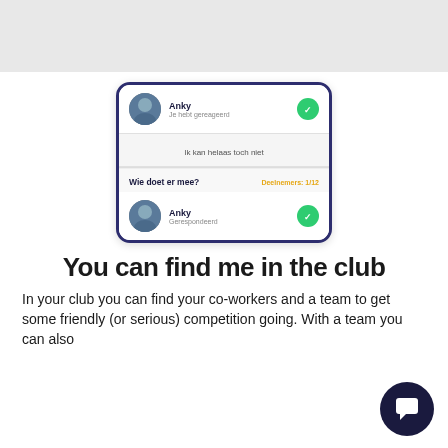[Figure (screenshot): Mobile app screenshot showing a coordination/team feature with user 'Anky', a message 'Ik kan helaas toch niet', a section 'Wie doet er mee?' with 'Deelnemers: 1/12', and user 'Anky' listed as 'Gerespondeerd' with green checkmark badge.]
You can find me in the club
In your club you can find your co-workers and a team to get some friendly (or serious) competition going. With a team you can also